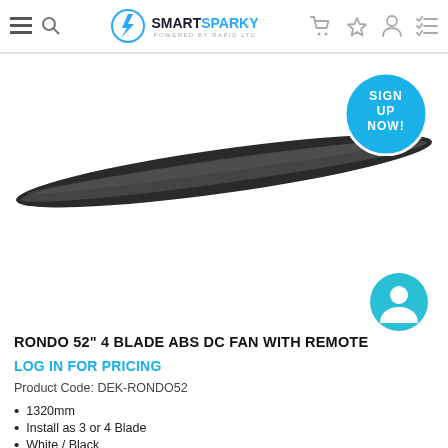SMART SPARKY — navigation bar with menu, search, logo, cart, bookmark, account, checklist icons
[Figure (photo): Close-up of dark/black ceiling fan blades against a white background, partially cropped]
[Figure (infographic): Blue circular badge with white text reading SIGN UP NOW!]
[Figure (infographic): Cyan/teal circular button with white person/user icon]
RONDO 52" 4 BLADE ABS DC FAN WITH REMOTE
LOG IN FOR PRICING
Product Code: DEK-RONDO52
1320mm
Install as 3 or 4 Blade
White / Black